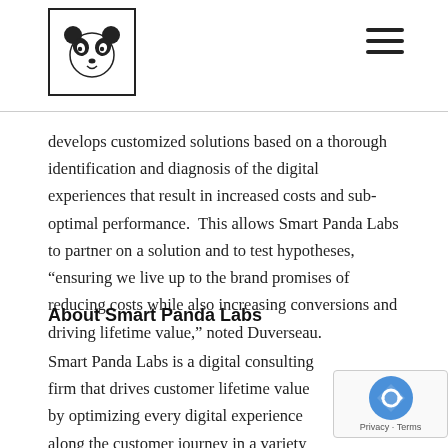[Figure (logo): Smart Panda Labs panda logo in a bordered square, with hamburger menu icon top right]
develops customized solutions based on a thorough identification and diagnosis of the digital experiences that result in increased costs and sub-optimal performance.  This allows Smart Panda Labs to partner on a solution and to test hypotheses, “ensuring we live up to the brand promises of reducing costs while also increasing conversions and driving lifetime value,” noted Duverseau.
About Smart Panda Labs
Smart Panda Labs is a digital consulting firm that drives customer lifetime value by optimizing every digital experience along the customer journey in a variety of considered purchase industries such as higher